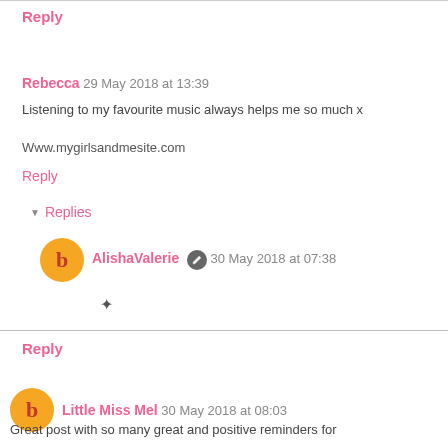Reply
Rebecca 29 May 2018 at 13:39
Listening to my favourite music always helps me so much x
Www.mygirlsandmesite.com
Reply
Replies
AlishaValerie 30 May 2018 at 07:38
Reply
Little Miss Mel 30 May 2018 at 08:03
Great post with so many great and positive reminders for